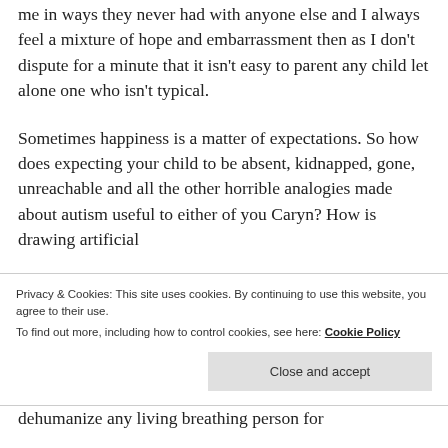me in ways they never had with anyone else and I always feel a mixture of hope and embarrassment then as I don't dispute for a minute that it isn't easy to parent any child let alone one who isn't typical.
Sometimes happiness is a matter of expectations. So how does expecting your child to be absent, kidnapped, gone, unreachable and all the other horrible analogies made about autism useful to either of you Caryn? How is drawing artificial
Privacy & Cookies: This site uses cookies. By continuing to use this website, you agree to their use. To find out more, including how to control cookies, see here: Cookie Policy
dehumanize any living breathing person for